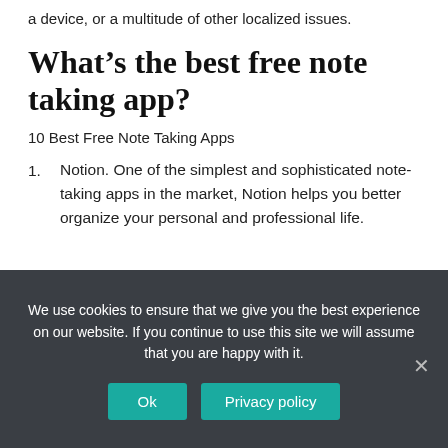a device, or a multitude of other localized issues.
What’s the best free note taking app?
10 Best Free Note Taking Apps
Notion. One of the simplest and sophisticated note-taking apps in the market, Notion helps you better organize your personal and professional life.
Evernote. Evernote is one of the most
We use cookies to ensure that we give you the best experience on our website. If you continue to use this site we will assume that you are happy with it.